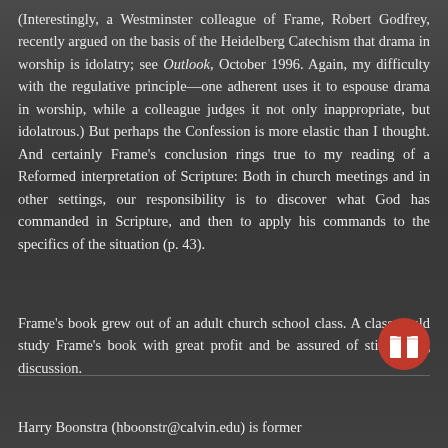(Interestingly, a Westminster colleague of Frame, Robert Godfrey, recently argued on the basis of the Heidelberg Catechism that drama in worship is idolatry; see Outlook, October 1996. Again, my difficulty with the regulative principle—one adherent uses it to espouse drama in worship, while a colleague judges it not only inappropriate, but idolatrous.) But perhaps the Confession is more elastic than I thought. And certainly Frame's conclusion rings true to my reading of a Reformed interpretation of Scripture: Both in church meetings and in other settings, our responsibility is to discover what God has commanded in Scripture, and then to apply his commands to the specifics of the situation (p. 43).
Frame's book grew out of an adult church school class. A class could study Frame's book with great profit and be assured of stimulating discussion.
Harry Boonstra (hboonstr@calvin.edu) is former